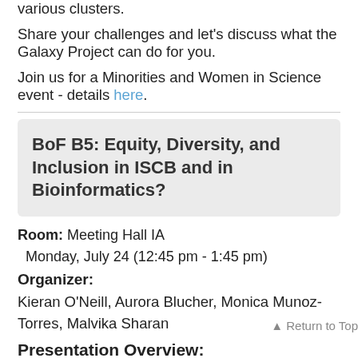various clusters.
Share your challenges and let's discuss what the Galaxy Project can do for you.
Join us for a Minorities and Women in Science event - details here.
BoF B5: Equity, Diversity, and Inclusion in ISCB and in Bioinformatics?
Room: Meeting Hall IA
Monday, July 24 (12:45 pm - 1:45 pm)
Organizer:
Kieran O'Neill, Aurora Blucher, Monica Munoz-Torres, Malvika Sharan
Presentation Overview: